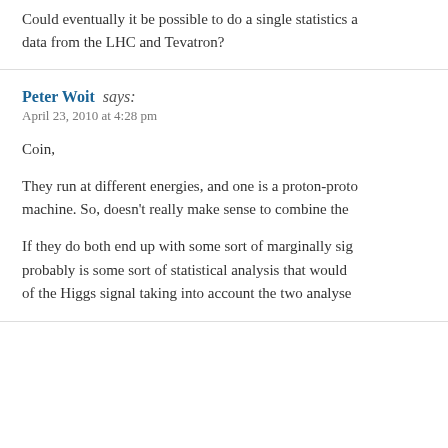Could eventually it be possible to do a single statistics analysis using data from the LHC and Tevatron?
Peter Woit says:
April 23, 2010 at 4:28 pm
Coin,
They run at different energies, and one is a proton-proton machine. So, doesn't really make sense to combine the
If they do both end up with some sort of marginally sig probably is some sort of statistical analysis that would of the Higgs signal taking into account the two analyse